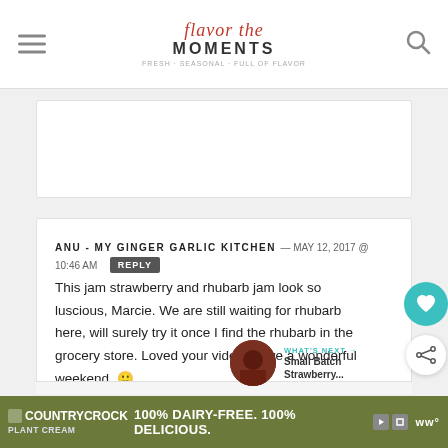Flavor the Moments — Fresh, Seasonal, Full of Flavor
ANU - MY GINGER GARLIC KITCHEN — MAY 12, 2017 @ 10:46 AM REPLY
This jam strawberry and rhubarb jam look so luscious, Marcie. We are still waiting for rhubarb here, will surely try it once I find the rhubarb in the grocery store. Loved your video. Have a wonderful weekend. 🙂
WHAT'S NEXT → Small Batch Strawberry...
COUNTRYCROCK PLANT CREAM 100% DAIRY-FREE. 100% DELICIOUS.